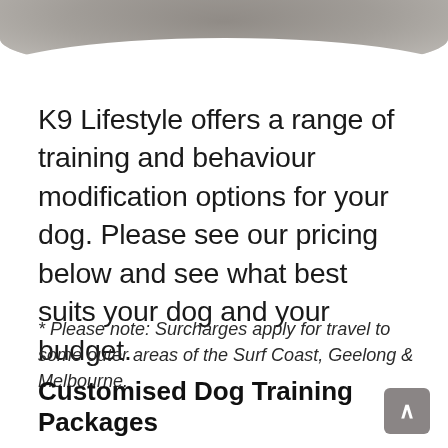[Figure (photo): Partial photo banner at top of page showing a muted grey/taupe outdoor scene, curved white arc at bottom of banner.]
K9 Lifestyle offers a range of training and behaviour modification options for your dog. Please see our pricing below and see what best suits your dog and your budget.
* Please note: Surcharges apply for travel to some outer areas of the Surf Coast, Geelong & Melbourne.
Customised Dog Training Packages